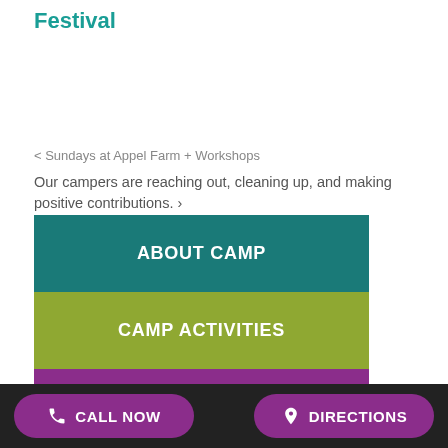Festival
< Sundays at Appel Farm + Workshops
Our campers are reaching out, cleaning up, and making positive contributions. >
ABOUT CAMP
CAMP ACTIVITIES
CAMP LIFE
CALL NOW   DIRECTIONS